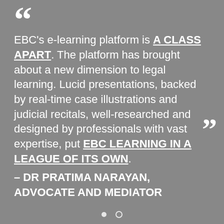EBC's e-learning platform is A CLASS APART. The platform has brought about a new dimension to legal learning. Lucid presentations, backed by real-time case illustrations and judicial recitals, well-researched and designed by professionals with vast expertise, put EBC LEARNING IN A LEAGUE OF ITS OWN.
– DR PRATIMA NARAYAN, ADVOCATE AND MEDIATOR